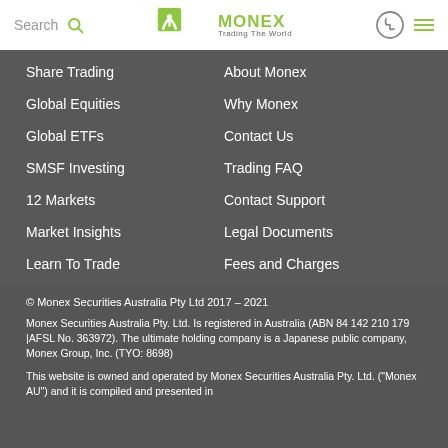Search | Monex Trading The World
Share Trading
About Monex
Global Equities
Why Monex
Global ETFs
Contact Us
SMSF Investing
Trading FAQ
12 Markets
Contact Support
Market Insights
Legal Documents
Learn To Trade
Fees and Charges
© Monex Securities Australia Pty Ltd 2017 – 2021
Monex Securities Australia Pty. Ltd. Is registered in Australia (ABN 84 142 210 179 |AFSL No. 363972). The ultimate holding company is a Japanese public company, Monex Group, Inc. (TYO: 8698)
This website is owned and operated by Monex Securities Australia Pty. Ltd. ("Monex AU") and it is compiled and presented in accordance with Australian laws and regulations. Monex AU limits it